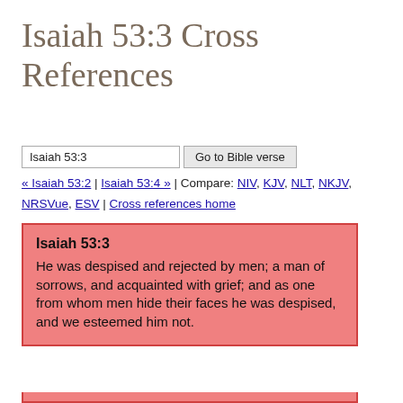Isaiah 53:3 Cross References
Isaiah 53:3 [input] Go to Bible verse
« Isaiah 53:2 | Isaiah 53:4 » | Compare: NIV, KJV, NLT, NKJV, NRSVue, ESV | Cross references home
Isaiah 53:3
He was despised and rejected by men; a man of sorrows, and acquainted with grief; and as one from whom men hide their faces he was despised, and we esteemed him not.